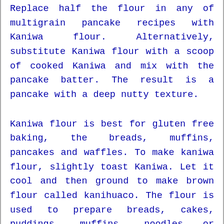Replace half the flour in any of multigrain pancake recipes with Kaniwa flour. Alternatively, substitute Kaniwa flour with a scoop of cooked Kaniwa and mix with the pancake batter. The result is a pancake with a deep nutty texture.
Kaniwa flour is best for gluten free baking, the breads, muffins, pancakes and waffles. To make kaniwa flour, slightly toast Kaniwa. Let it cool and then ground to make brown flour called kanihuaco. The flour is used to prepare breads, cakes, puddings, muffins, noodles or snacks. The flour can be boiled in milk to prepare instant porridge. For an